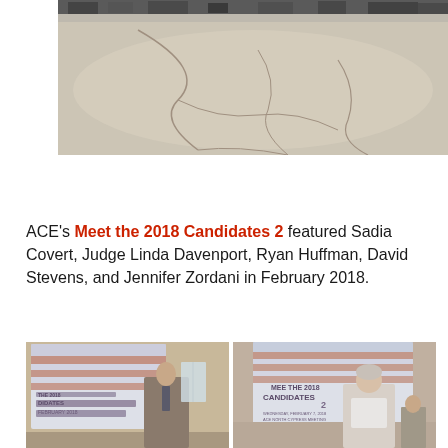[Figure (photo): Outdoor parking lot photo showing cracked asphalt pavement with vehicles and people visible at the top edge]
ACE's Meet the 2018 Candidates 2 featured Sadia Covert, Judge Linda Davenport, Ryan Huffman, David Stevens, and Jennifer Zordani in February 2018.
[Figure (photo): Two side-by-side photos from Meet the 2018 Candidates 2 event: left shows a man speaking at a podium with a projection screen behind him, right shows a woman standing with the same event projection screen visible]